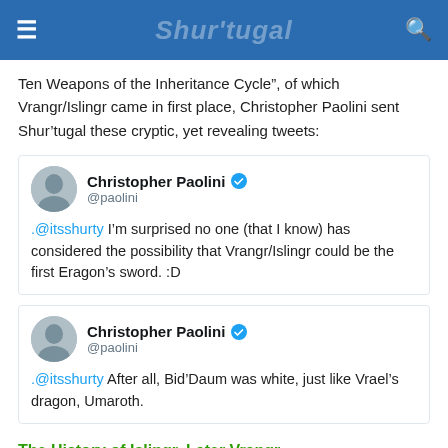Shur'tugal
Ten Weapons of the Inheritance Cycle”, of which Vrangr/Islingr came in first place, Christopher Paolini sent Shur’tugal these cryptic, yet revealing tweets:
[Figure (screenshot): Tweet from Christopher Paolini (@paolini) with verified badge: .@itsshurty I’m surprised no one (that I know) has considered the possibility that Vrangr/Islingr could be the first Eragon’s sword. :D]
[Figure (screenshot): Tweet from Christopher Paolini (@paolini) with verified badge: .@itsshurty After all, Bid’Daum was white, just like Vrael’s dragon, Umaroth.]
The History of Islingr, Later Vrangr